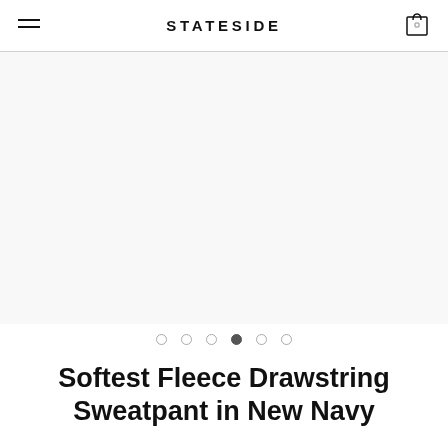STATESIDE
[Figure (photo): Product image area (blank/white) for Softest Fleece Drawstring Sweatpant in New Navy, with image carousel dots below showing 6 dots, 4th dot filled]
Softest Fleece Drawstring Sweatpant in New Navy